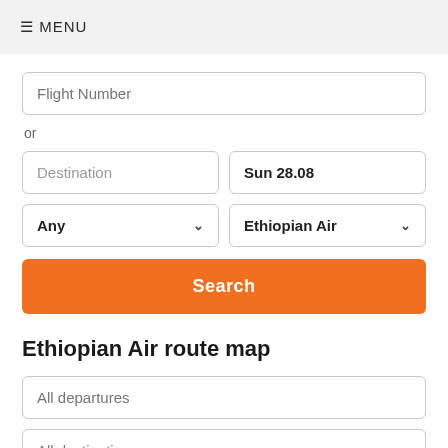≡ MENU
Flight Number
or
Destination
Sun 28.08
Any
Ethiopian Air
Search
Ethiopian Air route map
All departures
All destinations